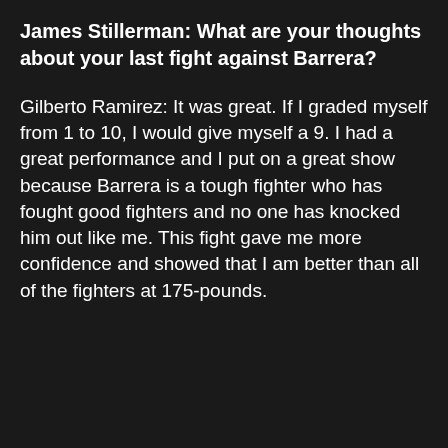James Stillerman: What are your thoughts about your last fight against Barrera?
Gilberto Ramirez: It was great. If I graded myself from 1 to 10, I would give myself a 9. I had a great performance and I put on a great show because Barrera is a tough fighter who has fought good fighters and no one has knocked him out like me. This fight gave me more confidence and showed that I am better than all of the fighters at 175-pounds.